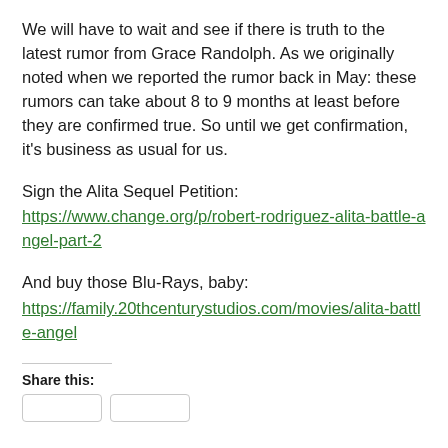We will have to wait and see if there is truth to the latest rumor from Grace Randolph. As we originally noted when we reported the rumor back in May: these rumors can take about 8 to 9 months at least before they are confirmed true. So until we get confirmation, it's business as usual for us.
Sign the Alita Sequel Petition:
https://www.change.org/p/robert-rodriguez-alita-battle-angel-part-2
And buy those Blu-Rays, baby:
https://family.20thcenturystudios.com/movies/alita-battle-angel
Share this: